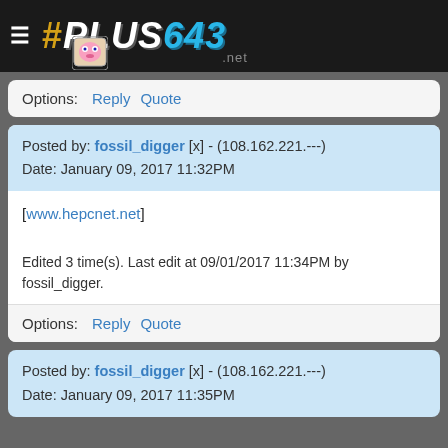# PLUS643 .net
Options:  Reply  Quote
Posted by: fossil_digger [x] - (108.162.221.---)
Date: January 09, 2017 11:32PM
[www.hepcnet.net]

Edited 3 time(s). Last edit at 09/01/2017 11:34PM by fossil_digger.
Options:  Reply  Quote
Posted by: fossil_digger [x] - (108.162.221.---)
Date: January 09, 2017 11:35PM